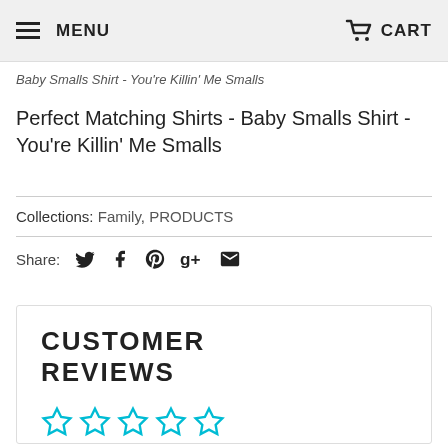MENU  CART
Baby Smalls Shirt - You're Killin' Me Smalls
Perfect Matching Shirts - Baby Smalls Shirt - You're Killin' Me Smalls
Collections: Family, PRODUCTS
Share:
CUSTOMER REVIEWS
Be the first to write a review
Write a review